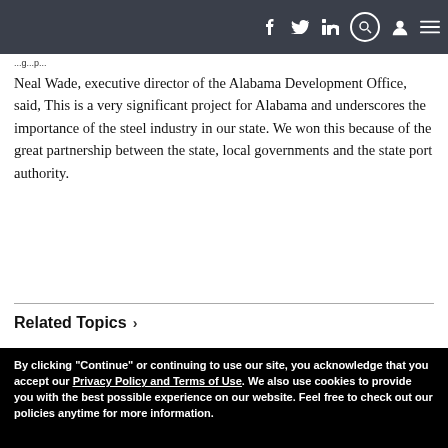Navigation bar with social icons (Facebook, Twitter, LinkedIn), search, user, and menu icons
Neal Wade, executive director of the Alabama Development Office, said, This is a very significant project for Alabama and underscores the importance of the steel industry in our state. We won this because of the great partnership between the state, local governments and the state port authority.
Related Topics >
By clicking "Continue" or continuing to use our site, you acknowledge that you accept our Privacy Policy and Terms of Use. We also use cookies to provide you with the best possible experience on our website. Feel free to check out our policies anytime for more information.
Continue